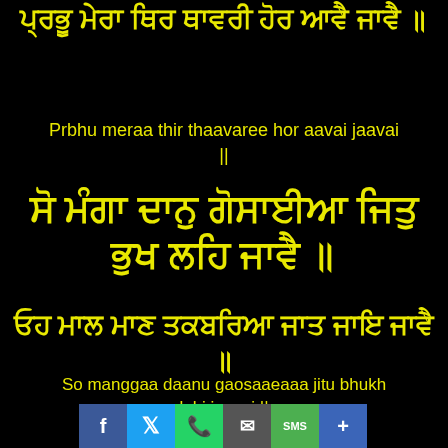ਪ੍ਰਭੂ ਮੇਰਾ ਥਿਰ ਥਾਵਰੀ ਹੋਰ ਆਵੈ ਜਾਵੈ ॥
Prbhu meraa thir thaavaree hor aavai jaavai ||
ਸੋ ਮੰਗਾ ਦਾਨੁ ਗੋਸਾਈਆ ਜਿਤੁ ਭੁਖ ਲਹਿ ਜਾਵੈ ॥
ਓਹ ਮਾਲ ਮਾਣ ਤਕਬਰਿਆ ਜਾਤ ਜਾਇ ਜਾਵੈ ॥
So manggaa daanu gaosaaeaaa jitu bhukh lahi jaavai ||
[Figure (infographic): Social media sharing bar with Facebook, Twitter, WhatsApp, Email, SMS, and Plus buttons]